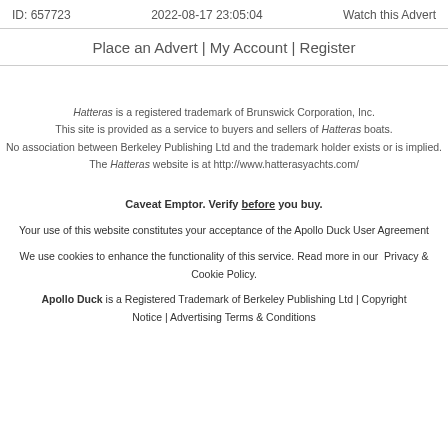ID: 657723    2022-08-17 23:05:04    Watch this Advert
Place an Advert | My Account | Register
Hatteras is a registered trademark of Brunswick Corporation, Inc. This site is provided as a service to buyers and sellers of Hatteras boats. No association between Berkeley Publishing Ltd and the trademark holder exists or is implied. The Hatteras website is at http://www.hatterasyachts.com/
Caveat Emptor. Verify before you buy.
Your use of this website constitutes your acceptance of the Apollo Duck User Agreement
We use cookies to enhance the functionality of this service. Read more in our Privacy & Cookie Policy.
Apollo Duck is a Registered Trademark of Berkeley Publishing Ltd | Copyright Notice | Advertising Terms & Conditions